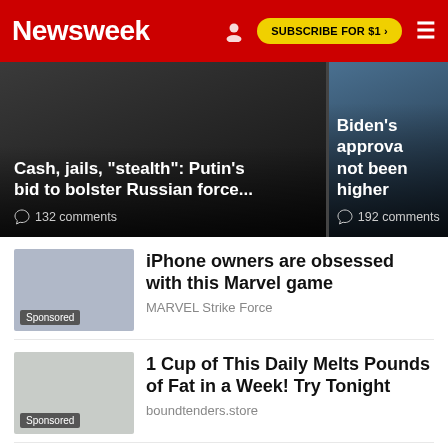Newsweek | SUBSCRIBE FOR $1 >
[Figure (photo): Two-panel hero image: left panel shows soldier in military gear with headline 'Cash, jails, "stealth": Putin's bid to bolster Russian force...' and 132 comments; right panel partially visible showing blue-toned image with 'Biden's approva... not been higher' and 192 comments]
[Figure (infographic): Sponsored ad thumbnail for MARVEL Strike Force game]
iPhone owners are obsessed with this Marvel game
MARVEL Strike Force
[Figure (photo): Sponsored ad thumbnail for boundtenders.store weight loss product]
1 Cup of This Daily Melts Pounds of Fat in a Week! Try Tonight
boundtenders.store
[Figure (photo): Ad thumbnail for autumn lake healthcare at crofton General Dentist Jobs]
autumn lake healthcare at crofton General Dentist Jobs in Ashburn Apply Now